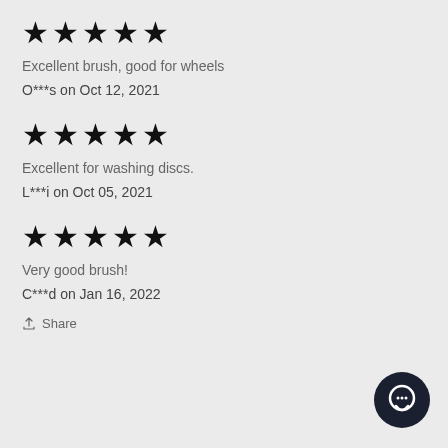★★★★★
Excellent brush, good for wheels
O***s on Oct 12, 2021
★★★★★
Excellent for washing discs.
L***i on Oct 05, 2021
★★★★★
Very good brush!
C***d on Jan 16, 2022
Share
[Figure (illustration): Dark circular chat button icon in bottom right corner]